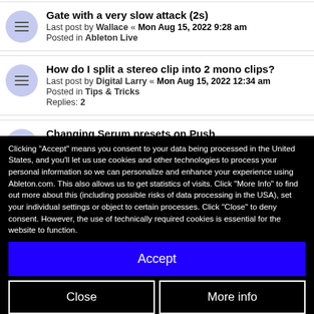Gate with a very slow attack (2s)
Last post by Wallace « Mon Aug 15, 2022 9:28 am
Posted in Ableton Live
How do I split a stereo clip into 2 mono clips?
Last post by Digital Larry « Mon Aug 15, 2022 12:34 am
Posted in Tips & Tricks
Replies: 2
Changing Serum presets on Push
Last post by nebulae « Sun Aug 14, 2022 10:49 pm
Posted in Ableton Push
Replies: 4
Post your most obscure Ableton Live knowledge
Last post by pottering « Sun Aug 14, 2022 9:57 pm
Clicking "Accept" means you consent to your data being processed in the United States, and you'll let us use cookies and other technologies to process your personal information so we can personalize and enhance your experience using Ableton.com. This also allows us to get statistics of visits. Click "More Info" to find out more about this (including possible risks of data processing in the USA), set your individual settings or object to certain processes. Click "Close" to deny consent. However, the use of technically required cookies is essential for the website to function.
Accept
Close
More info